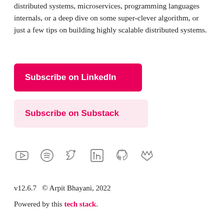distributed systems, microservices, programming languages internals, or a deep dive on some super-clever algorithm, or just a few tips on building highly scalable distributed systems.
Subscribe on LinkedIn
Subscribe on Substack
[Figure (infographic): Row of six social media icons: YouTube, Spotify, Twitter, LinkedIn, GitHub, GitLab]
v12.6.7  © Arpit Bhayani, 2022
Powered by this tech stack.